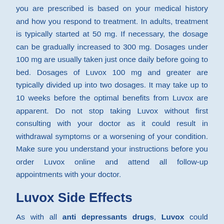you are prescribed is based on your medical history and how you respond to treatment. In adults, treatment is typically started at 50 mg. If necessary, the dosage can be gradually increased to 300 mg. Dosages under 100 mg are usually taken just once daily before going to bed. Dosages of Luvox 100 mg and greater are typically divided up into two dosages. It may take up to 10 weeks before the optimal benefits from Luvox are apparent. Do not stop taking Luvox without first consulting with your doctor as it could result in withdrawal symptoms or a worsening of your condition. Make sure you understand your instructions before you order Luvox online and attend all follow-up appointments with your doctor.
Luvox Side Effects
As with all anti depressants drugs, Luvox could cause some adverse effects in users. Some common side effects of Luvox which are usually at a minimum include